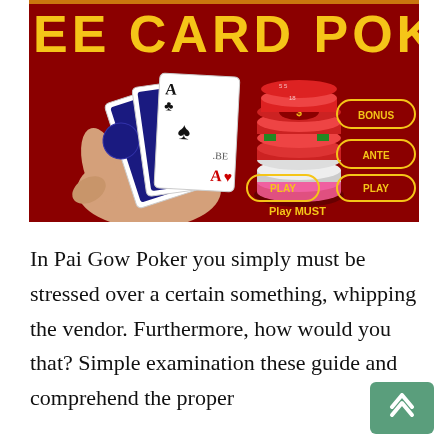[Figure (photo): A Three Card Poker table with someone holding playing cards (three Aces visible) over a dark red felt table surface. A stack of casino chips (red, pink, white, and green) sits to the right. Yellow betting circle labels read BONUS, ANTE, PLAY, PLAY. Text at the bottom reads 'Play MUST'. The top of the image shows partial yellow text reading 'EE CARD POKE' (Three Card Poker).]
In Pai Gow Poker you simply must be stressed over a certain something, whipping the vendor. Furthermore, how would you that? Simple examination these guide and comprehend the proper